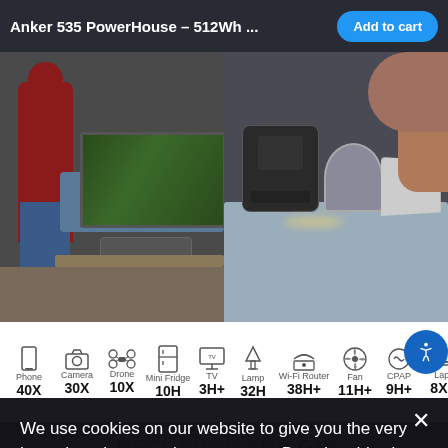CHARGE ESSENTIAL DEVICES DURING BLACKOUTS
Anker 535 PowerHouse – 512Wh ...
[Figure (screenshot): Two photos side by side: left shows outdoor scene with person, TV screen, and portable power station on tailgate; right shows Anker PowerHouse on desk with laptop, fan, lamp in indoor setting]
[Figure (infographic): Device charging duration icons row: Phone 40X, Camera 30X, Drone 10X, Mini Fridge 10H, TV 3H+, Lamp 32H, Wi-Fi Router 38H+, Fan 11H+, CPAP 9H+, Laptop 8X+]
[Figure (screenshot): Bottom section showing RECHARGE AND GO heading with subtitle 'Recharge to 80% in under 2.5 hours' and dark background with power station]
RECHARGE AND GO
Recharge to 80% in under 2.5 hours
We use cookies on our website to give you the very best shopping experience we can. By using this site, you agree to its use of cookies.
OK, got it!